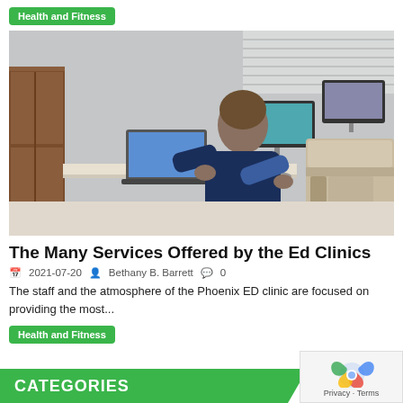Health and Fitness
[Figure (photo): Healthcare worker in navy scrubs sitting at a workstation in a medical exam room, using a laptop and tablet. A monitor on a wheeled stand and a beige medical examination table with adjustable equipment are visible in the background.]
The Many Services Offered by the Ed Clinics
2021-07-20  Bethany B. Barrett  0
The staff and the atmosphere of the Phoenix ED clinic are focused on providing the most...
Health and Fitness
CATEGORIES